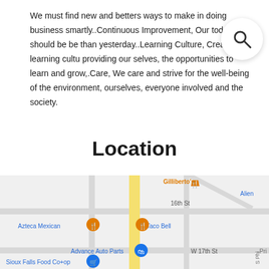We must find new and betters ways to make in doing business smartly..Continuous Improvement, Our today should be be than yesterday..Learning Culture, Creating a learning cultu providing our selves, the opportunities to learn and grow,.Care, We care and strive for the well-being of the environment, ourselves, everyone involved and the society.
Location
[Figure (map): Google Maps screenshot showing street map with locations: Gilliberto's, 16th St, Azteca Mexican, Taco Bell, Advance Auto Parts, Sioux Falls Food Co+op, W 17th St, Alien (partial), Pri (partial), S Phi (partial road)]